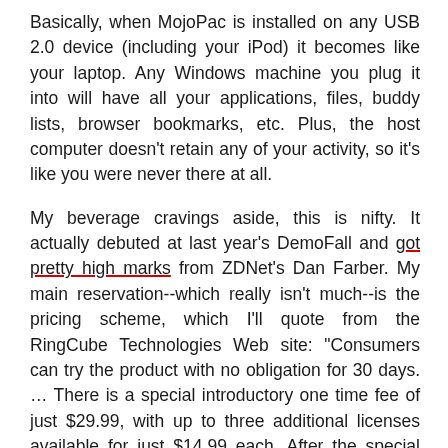Basically, when MojoPac is installed on any USB 2.0 device (including your iPod) it becomes like your laptop. Any Windows machine you plug it into will have all your applications, files, buddy lists, browser bookmarks, etc. Plus, the host computer doesn't retain any of your activity, so it's like you were never there at all.
My beverage cravings aside, this is nifty. It actually debuted at last year's DemoFall and got pretty high marks from ZDNet's Dan Farber. My main reservation--which really isn't much--is the pricing scheme, which I'll quote from the RingCube Technologies Web site: "Consumers can try the product with no obligation for 30 days. … There is a special introductory one time fee of just $29.99, with up to three additional licenses available for just $14.99 each. After the special introductory period the price changes to a one time fee of $49.99, with up to three additional licenses available for just $24.99 each."